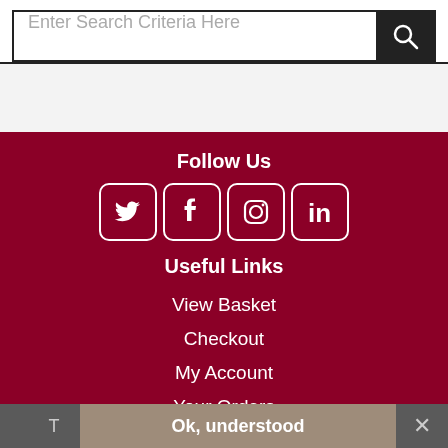Enter Search Criteria Here
[Figure (illustration): Gray background band below search bar]
Follow Us
[Figure (infographic): Social media icons: Twitter, Facebook, Instagram, LinkedIn — white rounded square icons on dark red background]
Useful Links
View Basket
Checkout
My Account
Your Orders
Terms And Conditions
Ok, understood